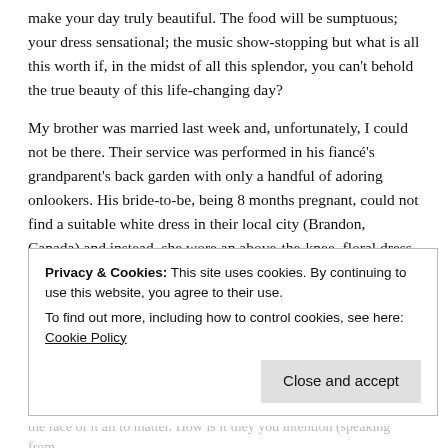make your day truly beautiful. The food will be sumptuous; your dress sensational; the music show-stopping but what is all this worth if, in the midst of all this splendor, you can't behold the true beauty of this life-changing day?
My brother was married last week and, unfortunately, I could not be there. Their service was performed in his fiancé's grandparent's back garden with only a handful of adoring onlookers. His bride-to-be, being 8 months pregnant, could not find a suitable white dress in their local city (Brandon, Canada) and instead, she wore an above-the-knee, floral dress that perfectly accentuated her bump. He wore a corsage to match. Soft music played in the background – I'd imagine from a Spotify playlist. And within minutes they were
Privacy & Cookies: This site uses cookies. By continuing to use this website, you agree to their use.
To find out more, including how to control cookies, see here: Cookie Policy
Close and accept
the face of it all to matter. How is it they you intention (speaking from